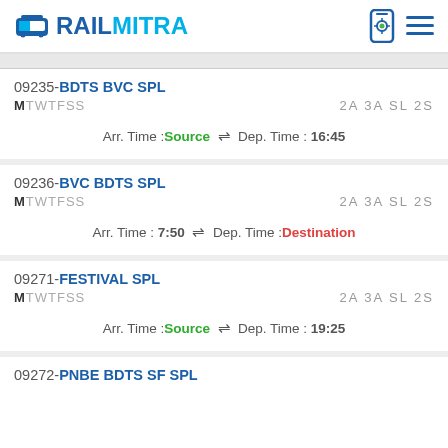RAILMITRA
09235-BDTS BVC SPL
MTWTFSS  2A 3A SL 2S
Arr. Time :Source ⇌ Dep. Time : 16:45
09236-BVC BDTS SPL
MTWTFSS  2A 3A SL 2S
Arr. Time : 7:50 ⇌ Dep. Time :Destination
09271-FESTIVAL SPL
MTWTFSS  2A 3A SL 2S
Arr. Time :Source ⇌ Dep. Time : 19:25
09272-PNBE BDTS SF SPL